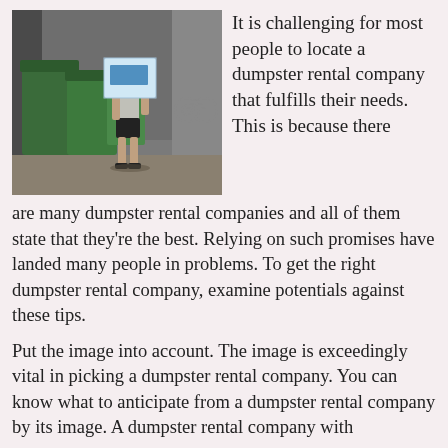[Figure (photo): A man carrying a large cardboard box in an alley with green dumpsters/waste bins on both sides. Urban alley setting with a bicycle visible in the background.]
It is challenging for most people to locate a dumpster rental company that fulfills their needs. This is because there are many dumpster rental companies and all of them state that they're the best. Relying on such promises have landed many people in problems. To get the right dumpster rental company, examine potentials against these tips.
Put the image into account. The image is exceedingly vital in picking a dumpster rental company. You can know what to anticipate from a dumpster rental company by its image. A dumpster rental company with